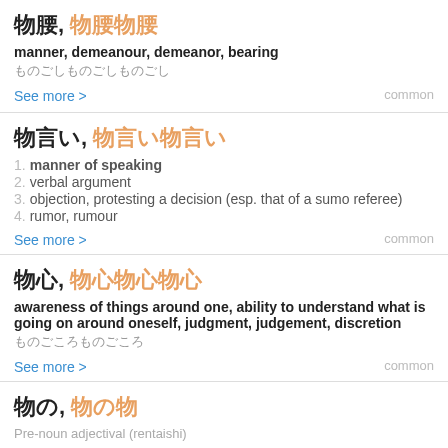物腰, 物腰物腰
manner, demeanour, demeanor, bearing
ものごしものごしものごし
See more > common
物言い, 物言い物言い
1. manner of speaking
2. verbal argument
3. objection, protesting a decision (esp. that of a sumo referee)
4. rumor, rumour
See more > common
物心, 物心物心物心
awareness of things around one, ability to understand what is going on around oneself, judgment, judgement, discretion
ものごころものごころ
See more > common
物の, 物の物の
Pre-noun adjectival (rentaishi)